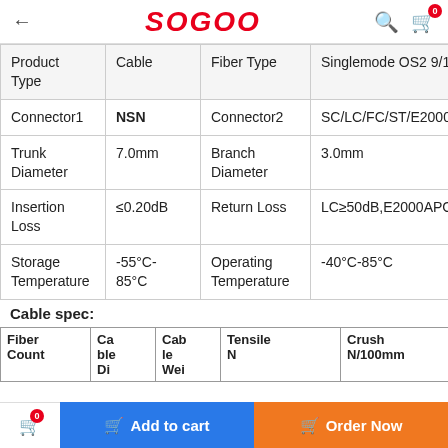SOGOO
| Product Type | Cable | Fiber Type | Singlemode OS2 9/12... |
| --- | --- | --- | --- |
| Connector1 | NSN | Connector2 | SC/LC/FC/ST/E2000 |
| Trunk Diameter | 7.0mm | Branch Diameter | 3.0mm |
| Insertion Loss | ≤0.20dB | Return Loss | LC≥50dB,E2000APC≥6... |
| Storage Temperature | -55°C-85°C | Operating Temperature | -40°C-85°C |
Cable spec:
| Fiber Count | Cable Di | Cable Wei | Tensile N | Crush N/100mm | Min. B s mm |
| --- | --- | --- | --- | --- | --- |
0  Add to cart  Order Now